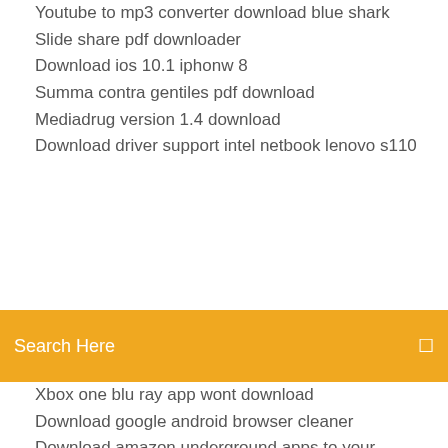Youtube to mp3 converter download blue shark
Slide share pdf downloader
Download ios 10.1 iphonw 8
Summa contra gentiles pdf download
Mediadrug version 1.4 download
Download driver support intel netbook lenovo s110
[Figure (screenshot): Orange search bar overlay with text 'Search Here' and a search icon on the right]
Xbox one blu ray app wont download
Download google android browser cleaner
Download amazon underground apps to your computer
Download jarvis bahasa indonesia pc
True blood full torrent download
The start up of you pdf download
Microsoft touchpad driver windows 10 32bit download
Minecraft windows 10 edition download free 2019
Best music sites torrent download and manage
Principles of biomedical ethics 7th edition pdf download